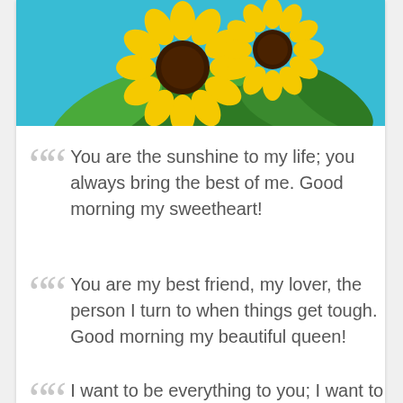[Figure (photo): Sunflowers on a turquoise/teal background — two large yellow sunflowers with green leaves arranged decoratively]
You are the sunshine to my life; you always bring the best of me. Good morning my sweetheart!
You are my best friend, my lover, the person I turn to when things get tough. Good morning my beautiful queen!
I want to be everything to you; I want to be your world. Everything